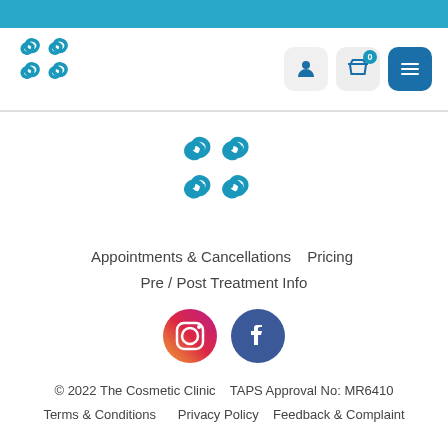[Figure (logo): The Cosmetic Clinic logo (small) in teal/blue in navigation bar]
[Figure (logo): The Cosmetic Clinic logo (large) in teal/blue centered on page]
Appointments & Cancellations   Pricing
Pre / Post Treatment Info
[Figure (illustration): Instagram and Facebook social media icons]
© 2022 The Cosmetic Clinic   TAPS Approval No: MR6410
Terms & Conditions       Privacy Policy     Feedback & Complaint